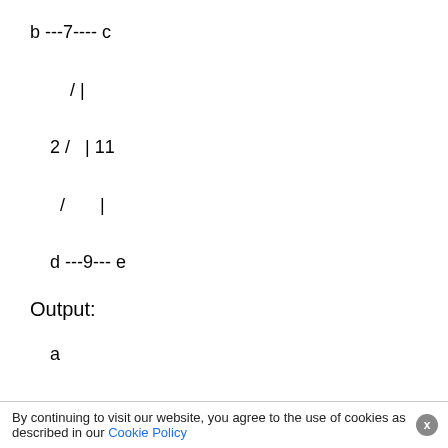[Figure (other): ASCII-art graph diagram showing nodes b, c, d, e connected with edges labeled 7, 2, 11, 9]
Output:
[Figure (other): ASCII-art tree/graph output showing node a at top, slash below, then 3 /]
By continuing to visit our website, you agree to the use of cookies as described in our Cookie Policy